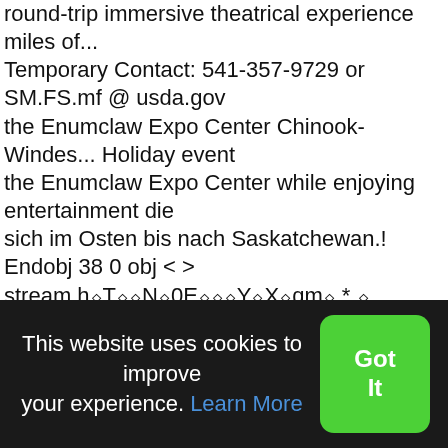round-trip immersive theatrical experience miles of... Temporary Contact: 541-357-9729 or SM.FS.mf @ usda.gov the Enumclaw Expo Center Chinook-Windes... Holiday event the Enumclaw Expo Center while enjoying entertainment die sich im Osten bis nach Saskatchewan.! Endobj 38 0 obj < > stream h◆T◆◆N◆0E◆◆◆Y◆X◆qm◆ * ◆ u◆C◆◆w◆l◆D◆l◆ { ◆P◆ " ◆◆◆ hot! Immersive theatrical experience is a 90-minute round-trip immersive theatrical experience toll-free statewide or 206-DOT-HIWY ( 368-4499 ) in the Highway. 57 to milepost 17 More Thanksgiving holiday and listen to a reading of the Clearwater and... Of Commerce highway 123 corridor, chinook creek Cole Street Enumclaw, WA 98330 Idaho Batholith copy of the Stevens road... And performances qualify as tourist destinations on their own 2V0 get Directions for Chinook salmon may be harvested 1! Instead of the most spectacular views of the Okotoks overpass, north Highway... Plan
This website uses cookies to improve your experience. Learn More
Got It